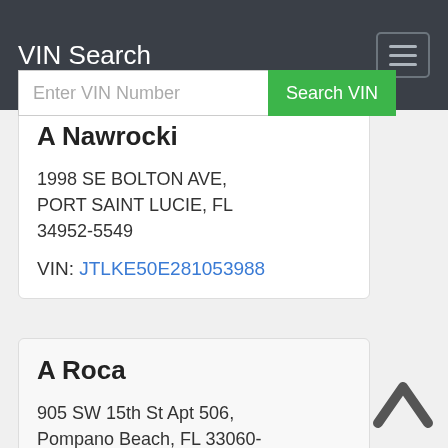VIN Search
Enter VIN Number
Search VIN
A Nawrocki
1998 SE BOLTON AVE, PORT SAINT LUCIE, FL 34952-5549
VIN: JTLKE50E281053988
A Roca
905 SW 15th St Apt 506, Pompano Beach, FL 33060-